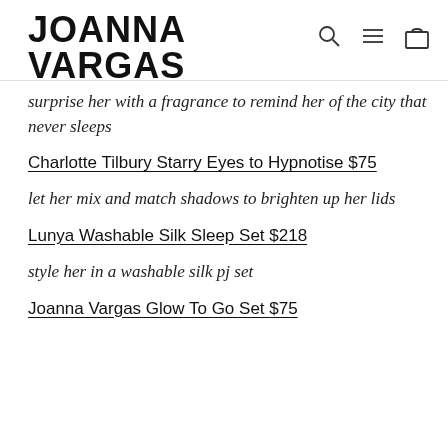JOANNA VARGAS
surprise her with a fragrance to remind her of the city that never sleeps
Charlotte Tilbury Starry Eyes to Hypnotise $75
let her mix and match shadows to brighten up her lids
Lunya Washable Silk Sleep Set $218
style her in a washable silk pj set
Joanna Vargas Glow To Go Set $75